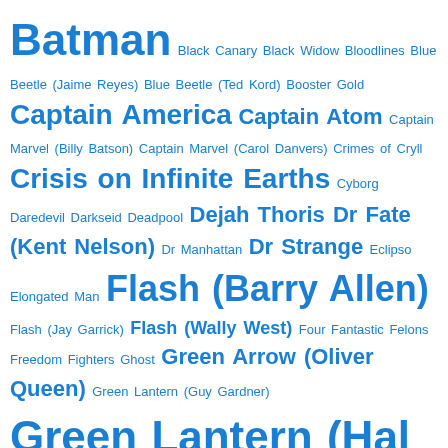[Figure (infographic): Tag cloud of comic book and superhero characters and series names in varying font sizes and all in blue color on white background. Larger text indicates higher frequency/importance. Names include Batman, Green Lantern (Hal Jordan), Power Girl, Flash (Barry Allen), Star Wars, Justice League, and many others.]